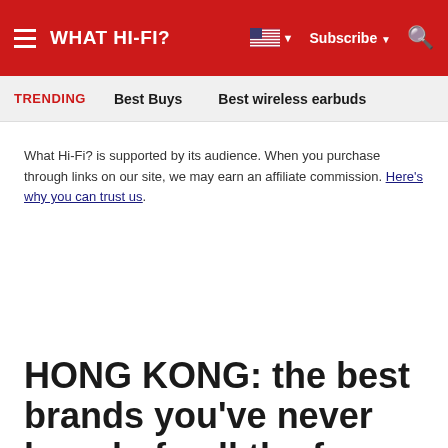WHAT HI-FI?
TRENDING   Best Buys   Best wireless earbuds
What Hi-Fi? is supported by its audience. When you purchase through links on our site, we may earn an affiliate commission. Here's why you can trust us.
HONG KONG: the best brands you've never heard of - all the fun